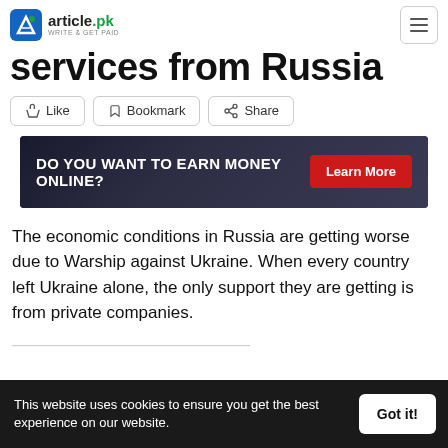article.pk — WRITE & GET PAID
services from Russia
Like
Bookmark
Share
[Figure (infographic): Banner ad: DO YOU WANT TO EARN MONEY ONLINE? Learn More]
The economic conditions in Russia are getting worse due to Warship against Ukraine. When every country left Ukraine alone, the only support they are getting is from private companies.
This website uses cookies to ensure you get the best experience on our website.